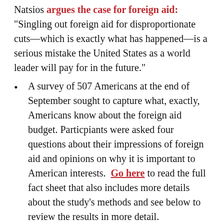Natsios argues the case for foreign aid: "Singling out foreign aid for disproportionate cuts—which is exactly what has happened—is a serious mistake the United States as a world leader will pay for in the future."
A survey of 507 Americans at the end of September sought to capture what, exactly, Americans know about the foreign aid budget. Particpiants were asked four questions about their impressions of foreign aid and opinions on why it is important to American interests. Go here to read the full fact sheet that also includes more details about the study's methods and see below to review the results in more detail.
The World Health Organization's chief on Monday urged governments to unite against "big tobacco", as she accused the industry of dirty tricks, bullying and immorality in its quest to keep people